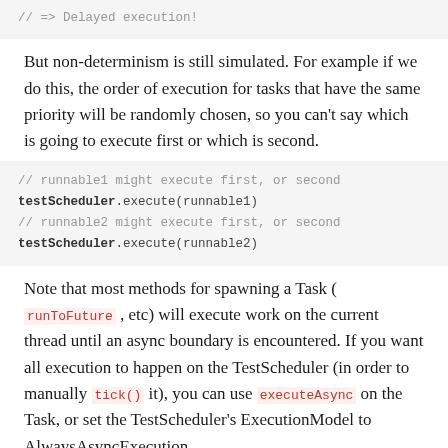[Figure (screenshot): Code block showing: // => Delayed execution!]
But non-determinism is still simulated. For example if we do this, the order of execution for tasks that have the same priority will be randomly chosen, so you can't say which is going to execute first or which is second.
[Figure (screenshot): Code block showing: // runnable1 might execute first, or second
testScheduler.execute(runnable1)
// runnable2 might execute first, or second
testScheduler.execute(runnable2)]
Note that most methods for spawning a Task ( runToFuture , etc) will execute work on the current thread until an async boundary is encountered. If you want all execution to happen on the TestScheduler (in order to manually tick() it), you can use executeAsync on the Task, or set the TestScheduler's ExecutionModel to AlwaysAsyncExecution.